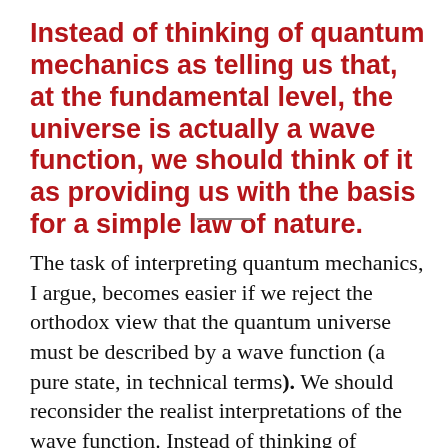Instead of thinking of quantum mechanics as telling us that, at the fundamental level, the universe is actually a wave function, we should think of it as providing us with the basis for a simple law of nature.
The task of interpreting quantum mechanics, I argue, becomes easier if we reject the orthodox view that the quantum universe must be described by a wave function (a pure state, in technical terms). We should reconsider the realist interpretations of the wave function. Instead of thinking of